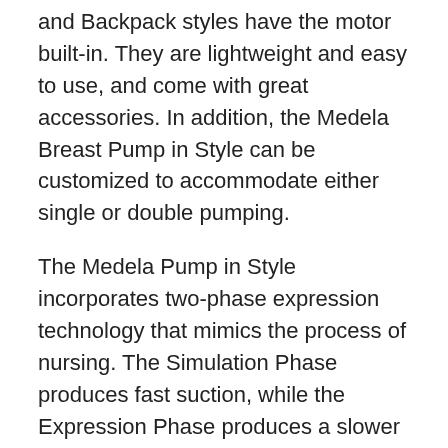and Backpack styles have the motor built-in. They are lightweight and easy to use, and come with great accessories. In addition, the Medela Breast Pump in Style can be customized to accommodate either single or double pumping.
The Medela Pump in Style incorporates two-phase expression technology that mimics the process of nursing. The Simulation Phase produces fast suction, while the Expression Phase produces a slower suction. This allows mothers to produce more milk in a shorter time than with traditional pumps. The Medela Breast Pump in Style uses the Medela pumping machine with MaxFlow technology, which simulates the swallowing motion of a newborn. The pump comes with a bag that can be carried